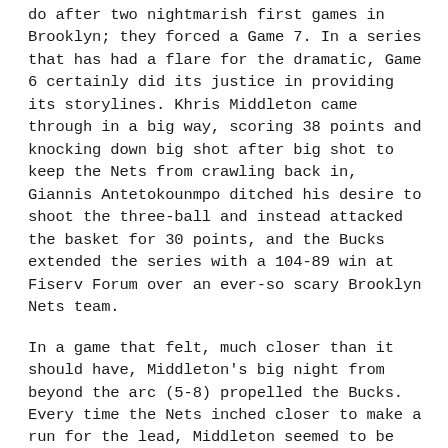do after two nightmarish first games in Brooklyn; they forced a Game 7. In a series that has had a flare for the dramatic, Game 6 certainly did its justice in providing its storylines. Khris Middleton came through in a big way, scoring 38 points and knocking down big shot after big shot to keep the Nets from crawling back in, Giannis Antetokounmpo ditched his desire to shoot the three-ball and instead attacked the basket for 30 points, and the Bucks extended the series with a 104-89 win at Fiserv Forum over an ever-so scary Brooklyn Nets team.
In a game that felt, much closer than it should have, Middleton's big night from beyond the arc (5-8) propelled the Bucks. Every time the Nets inched closer to make a run for the lead, Middleton seemed to be able to hit a big shot. While the Bucks never trailed in Game 6, and were usually up by 7-12 points, their leads never felt safe. We all saw what happened